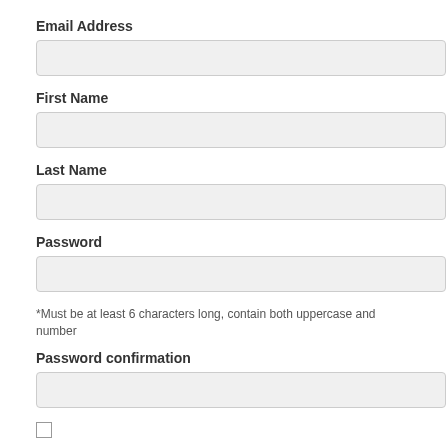Email Address
[Figure (other): Email Address input field (empty, light gray background)]
First Name
[Figure (other): First Name input field (empty, light gray background)]
Last Name
[Figure (other): Last Name input field (empty, light gray background)]
Password
[Figure (other): Password input field (empty, light gray background)]
*Must be at least 6 characters long, contain both uppercase and number
Password confirmation
[Figure (other): Password confirmation input field (empty, light gray background)]
[Figure (other): Checkbox (unchecked)]
I agree to the RoundPegg Terms of Service and Privacy Policy